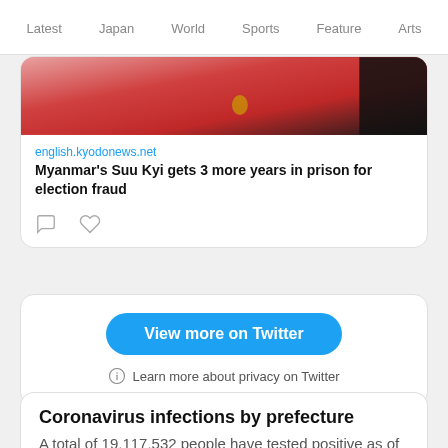Latest  Japan  World  Sports  Feature  Arts
[Figure (screenshot): Partial photo of a woman in red with gold earrings, cropped at the top of the tweet card]
english.kyodonews.net
Myanmar's Suu Kyi gets 3 more years in prison for election fraud
[Figure (screenshot): Tweet action icons: comment bubble and heart/like icon]
View more on Twitter
Learn more about privacy on Twitter
Coronavirus infections by prefecture
A total of 19,117,532 people have tested positive as of 8 p.m., Sept. 1, 2022. (Japan time)